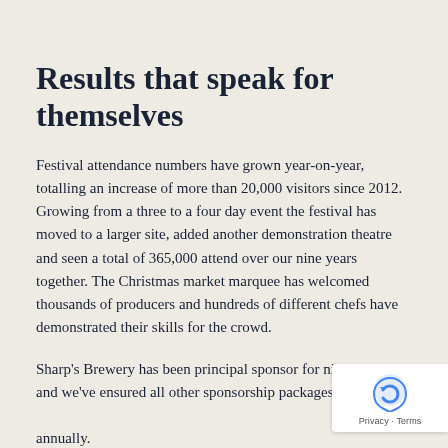Results that speak for themselves
Festival attendance numbers have grown year-on-year, totalling an increase of more than 20,000 visitors since 2012. Growing from a three to a four day event the festival has moved to a larger site, added another demonstration theatre and seen a total of 365,000 attend over our nine years together. The Christmas market marquee has welcomed thousands of producers and hundreds of different chefs have demonstrated their skills for the crowd.
Sharp's Brewery has been principal sponsor for nine years and we've ensured all other sponsorship packages are reviewed annually.